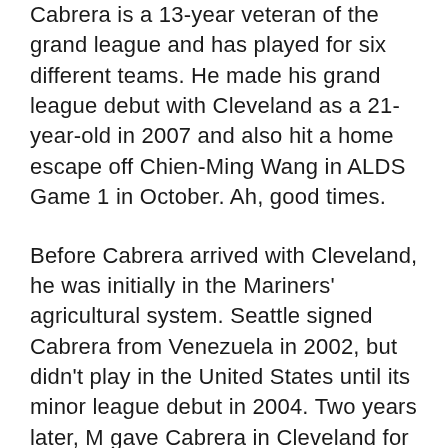Cabrera is a 13-year veteran of the grand league and has played for six different teams. He made his grand league debut with Cleveland as a 21-year-old in 2007 and also hit a home escape off Chien-Ming Wang in ALDS Game 1 in October. Ah, good times.
Before Cabrera arrived with Cleveland, he was initially in the Mariners' agricultural system. Seattle signed Cabrera from Venezuela in 2002, but didn't play in the United States until its minor league debut in 2004. Two years later, M gave Cabrera in Cleveland for Eduardo Pérez.
Cabrera played Jhonny Peralta's second base in deference in his first two seasons, but Cleveland mixed the influence in 2009. Peralta